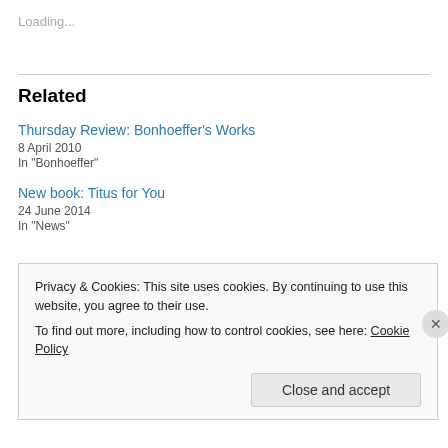Loading...
Related
Thursday Review: Bonhoeffer's Works
8 April 2010
In "Bonhoeffer"
New book: Titus for You
24 June 2014
In "News"
Privacy & Cookies: This site uses cookies. By continuing to use this website, you agree to their use.
To find out more, including how to control cookies, see here: Cookie Policy
Close and accept